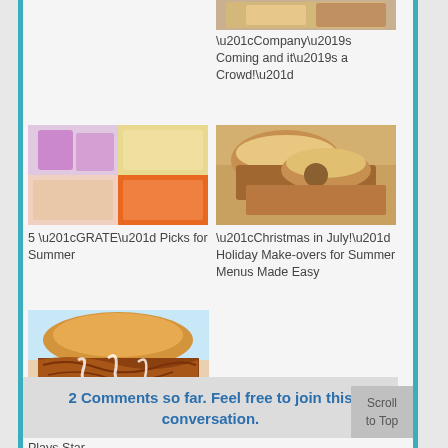[Figure (photo): Food photo top-right partially visible at top]
“Company’s Coming and it’s a Crowd!”
[Figure (photo): Collage of food ingredients including cheese grater and vegetables]
5 “GRATE” Picks for Summer
[Figure (photo): Sliders/burgers on a platter]
“Christmas in July!” Holiday Make-overs for Summer Menus Made Easy
[Figure (photo): Root beer pulled pork sandwich]
Root Beer Pulled Pork – Plays Star Role…We’re not “pulling” your leg!
2 Comments so far. Feel free to join this conversation.